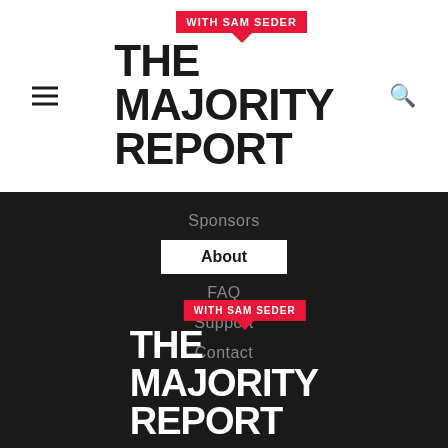[Figure (logo): The Majority Report with Sam Seder logo - black text on white background, with red speech bubble badge saying WITH SAM SEDER]
Sponsors
About
FAQ
Support
Contact
[Figure (logo): The Majority Report with Sam Seder logo - white text on dark background, with red speech bubble badge saying WITH SAM SEDER]